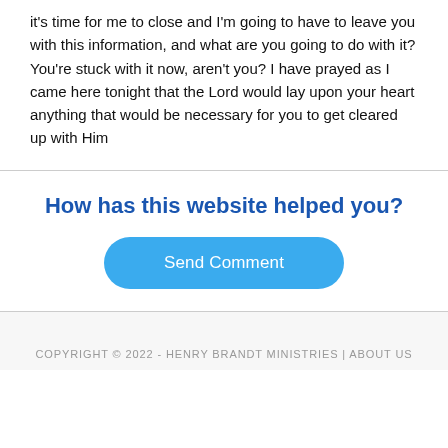it's time for me to close and I'm going to have to leave you with this information, and what are you going to do with it? You're stuck with it now, aren't you? I have prayed as I came here tonight that the Lord would lay upon your heart anything that would be necessary for you to get cleared up with Him
How has this website helped you?
Send Comment
COPYRIGHT © 2022 - HENRY BRANDT MINISTRIES | ABOUT US